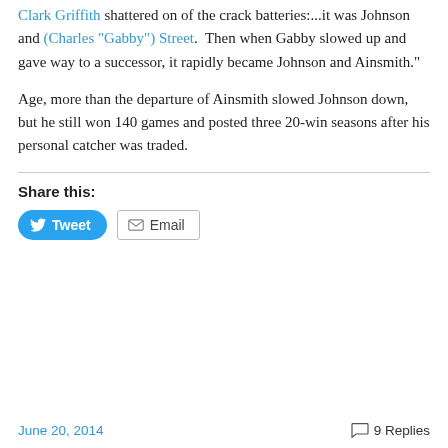Clark Griffith shattered on of the crack batteries:...it was Johnson and (Charles "Gabby") Street.  Then when Gabby slowed up and gave way to a successor, it rapidly became Johnson and Ainsmith."
Age, more than the departure of Ainsmith slowed Johnson down, but he still won 140 games and posted three 20-win seasons after his personal catcher was traded.
Share this:
June 20, 2014   9 Replies